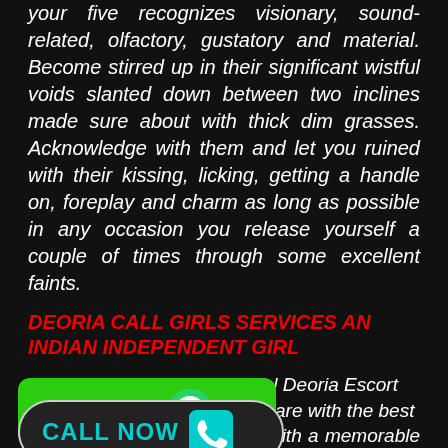your five recognizes visionary, sound-related, olfactory, gustatory and material. Become stirred up in their significant wistful voids slanted down between two inclines made sure about with thick dim grasses. Acknowledge with them and let you ruined with their kissing, licking, getting a handle on, foreplay and charm as long as possible in any occasion you release yourself a couple of times through some excellent faints.
DEORIA CALL GIRLS SERVICES AN INDIAN INDEPENDENT GIRL
Invites to Deoria City of Angel Deoria Escort ... est Escorts are with the best ... you with a memorable night. ... g to us, you own affirmed that you are pondering just the most extreme and the